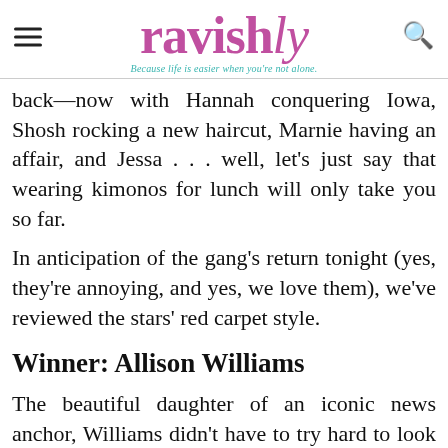ravishly — Because life is easier when you're not alone.
back—now with Hannah conquering Iowa, Shosh rocking a new haircut, Marnie having an affair, and Jessa . . . well, let's just say that wearing kimonos for lunch will only take you so far.
In anticipation of the gang's return tonight (yes, they're annoying, and yes, we love them), we've reviewed the stars' red carpet style.
Winner: Allison Williams
The beautiful daughter of an iconic news anchor, Williams didn't have to try hard to look good. Really and And not for nothing are her joining